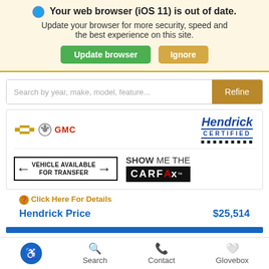Your web browser (iOS 11) is out of date. Update your browser for more security, speed and the best experience on this site.
[Figure (screenshot): Update browser and Ignore buttons]
[Figure (screenshot): Search bar with 'Search by year, make, model, feature...' placeholder and Refine button]
[Figure (logo): Chevrolet, Buick, GMC logos on left; Hendrick Certified logo on right]
[Figure (logo): Vehicle Available for Transfer badge and Show Me The CARFAX logo]
Click Here For Details
Hendrick Price $25,514
[Figure (screenshot): Blue progress/divider bar]
Accessibility | Search | Contact | Glovebox